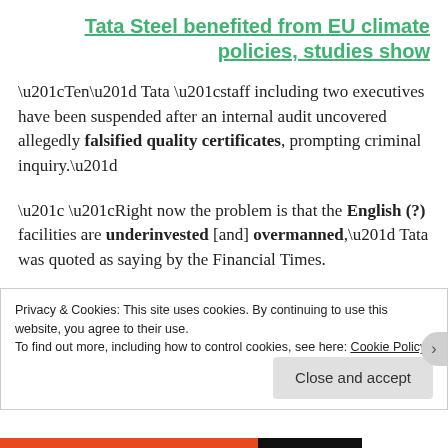Tata Steel benefited from EU climate policies, studies show
“Ten” Tata “staff including two executives have been suspended after an internal audit uncovered allegedly falsified quality certificates, prompting criminal inquiry.”
“ “Right now the problem is that the English (?) facilities are underinvested [and] overmanned,” Tata was quoted as saying by the Financial Times.
Privacy & Cookies: This site uses cookies. By continuing to use this website, you agree to their use.
To find out more, including how to control cookies, see here: Cookie Policy